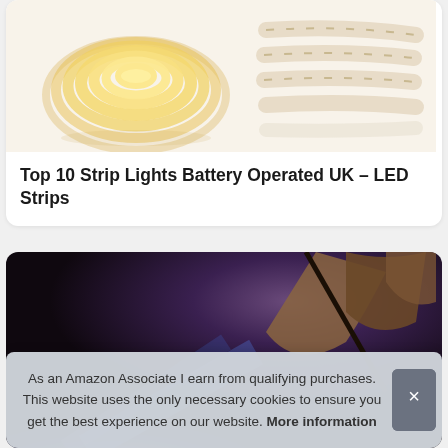[Figure (photo): Product image showing LED strip lights in coil/roll form, warm white colored strips on light background]
Top 10 Strip Lights Battery Operated UK – LED Strips
[Figure (photo): Dark atmospheric photo showing blue LED strip light effect with fabric or umbrella shape in purple-toned background]
As an Amazon Associate I earn from qualifying purchases. This website uses the only necessary cookies to ensure you get the best experience on our website. More information